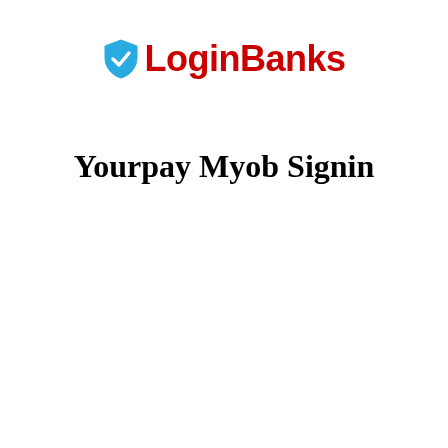[Figure (logo): LoginBanks logo with a blue shield checkmark icon to the left of the red bold text 'LoginBanks']
Yourpay Myob Signin